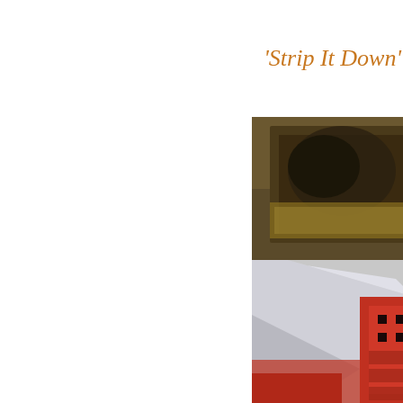'Strip It Down'
[Figure (photo): A collage of four photographs arranged in a 2x2 grid. Top-left: a blurry close-up of what appears to be a painted or printed artwork/poster with dark abstract shapes and text. Top-right: a person's legs/feet wearing dark shoes, sitting on a teal/turquoise surface. Bottom-left: a metallic silver inflatable or reflective object alongside a red patterned rug or carpet with geometric designs. Bottom-right: a black and white photo of a person with curly hair wearing a denim jacket, sitting and holding what appears to be a guitar.]